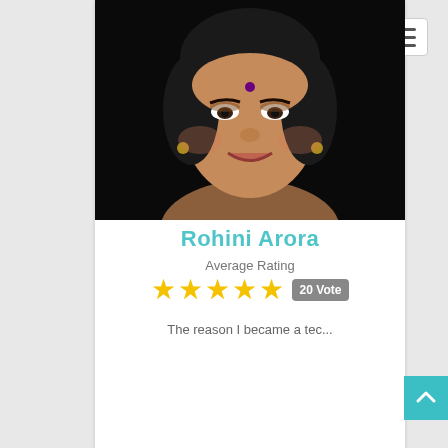[Figure (photo): Portrait photo of Rohini Arora — a woman with dark hair, a bindi, earrings, smiling, against a black background]
Rohini Arora
Average Rating
[Figure (infographic): 5 gold stars rating with badge showing 20 Vote]
The reason I became a tec...
VIEW PROFILE